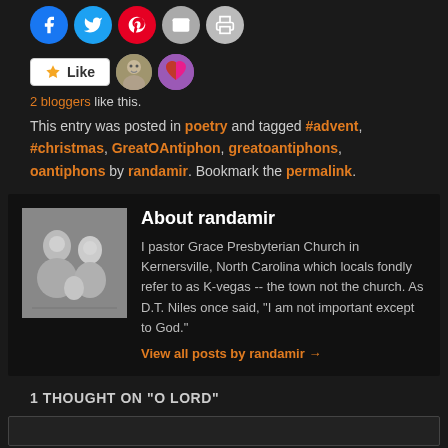[Figure (other): Social sharing icons row: Facebook (blue circle), Twitter (cyan circle), Pinterest (red circle), Email (gray circle), Print (gray circle)]
[Figure (other): Like button (white, star icon) with two blogger avatar thumbnails next to it]
2 bloggers like this.
This entry was posted in poetry and tagged #advent, #christmas, GreatOAntiphon, greatoantiphons, oantiphons by randamir. Bookmark the permalink.
About randamir
I pastor Grace Presbyterian Church in Kernersville, North Carolina which locals fondly refer to as K-vegas -- the town not the church. As D.T. Niles once said, "I am not important except to God."
View all posts by randamir →
1 THOUGHT ON "O LORD"